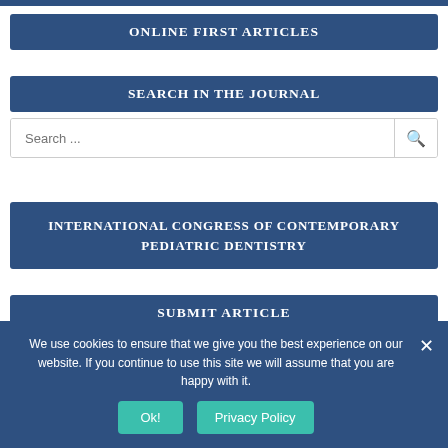ONLINE FIRST ARTICLES
SEARCH IN THE JOURNAL
Search ...
INTERNATIONAL CONGRESS OF CONTEMPORARY PEDIATRIC DENTISTRY
SUBMIT ARTICLE
We use cookies to ensure that we give you the best experience on our website. If you continue to use this site we will assume that you are happy with it.
Ok!  Privacy Policy